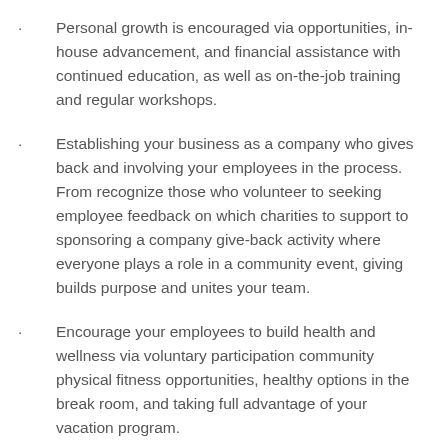Personal growth is encouraged via opportunities, in-house advancement, and financial assistance with continued education, as well as on-the-job training and regular workshops.
Establishing your business as a company who gives back and involving your employees in the process. From recognize those who volunteer to seeking employee feedback on which charities to support to sponsoring a company give-back activity where everyone plays a role in a community event, giving builds purpose and unites your team.
Encourage your employees to build health and wellness via voluntary participation community physical fitness opportunities, healthy options in the break room, and taking full advantage of your vacation program.
Finally, remember that upholding company values and